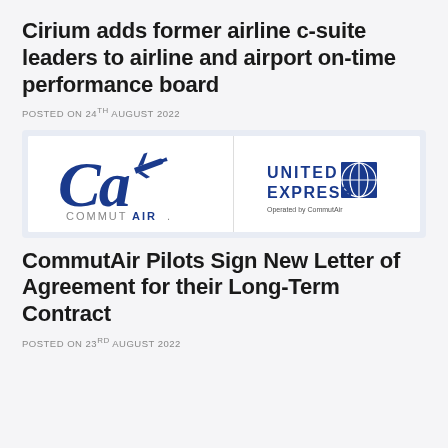Cirium adds former airline c-suite leaders to airline and airport on-time performance board
POSTED ON 24TH AUGUST 2022
[Figure (logo): CommutAir logo on left and United Express Operated by CommutAir logo on right, side by side on white background with light blue surround]
CommutAir Pilots Sign New Letter of Agreement for their Long-Term Contract
POSTED ON 23RD AUGUST 2022